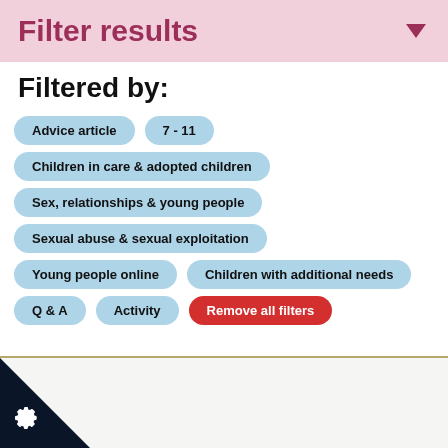Filter results
Filtered by:
Advice article
7 - 11
Children in care & adopted children
Sex, relationships & young people
Sexual abuse & sexual exploitation
Young people online
Children with additional needs
Q & A
Activity
Remove all filters